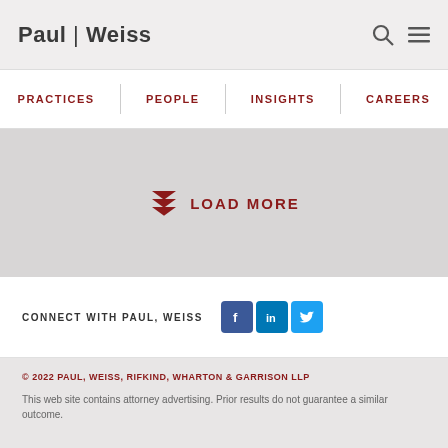Paul Weiss
PRACTICES | PEOPLE | INSIGHTS | CAREERS
[Figure (infographic): Load more button with downward arrow icon in dark red, text LOAD MORE in dark red uppercase letters]
CONNECT WITH PAUL, WEISS
[Figure (illustration): Social media icons: Facebook, LinkedIn, Twitter]
© 2022 PAUL, WEISS, RIFKIND, WHARTON & GARRISON LLP
This web site contains attorney advertising. Prior results do not guarantee a similar outcome.